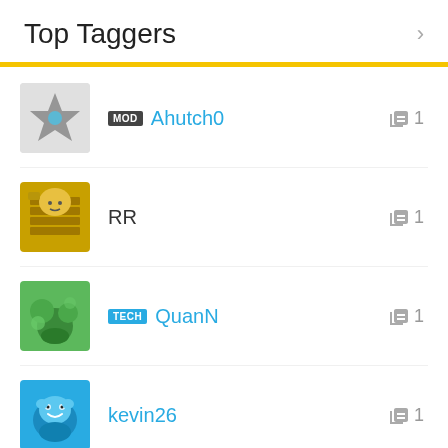Top Taggers
MOD Ahutch0 — 1 tag
RR — 1 tag
TECH QuanN — 1 tag
kevin26 — 1 tag